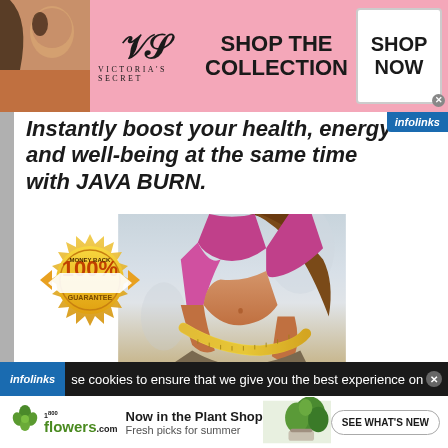[Figure (photo): Victoria's Secret advertisement banner with model photo, VS logo, 'SHOP THE COLLECTION' text, and 'SHOP NOW' button on pink background]
Instantly boost your health, energy and well-being at the same time with JAVA BURN.
[Figure (photo): Woman in pink sports bra measuring her waist with a yellow tape measure, with a '100% Money Back Guarantee' badge overlay]
se cookies to ensure that we give you the best experience on
[Figure (photo): 1-800-Flowers advertisement: 'Now in the Plant Shop - Fresh picks for summer' with plant photo and 'SEE WHAT'S NEW' button]